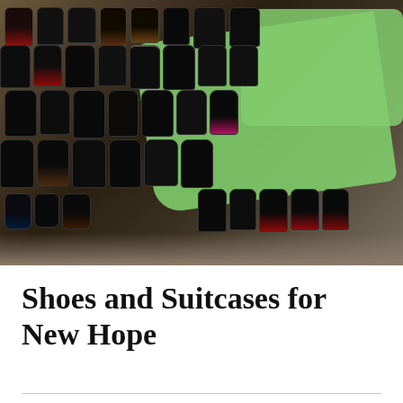[Figure (photo): A large collection of mostly dark/black used shoes and sneakers arranged on a bright green cloth or fabric on the floor. Many pairs are visible, worn and weathered, viewed from above.]
Shoes and Suitcases for New Hope